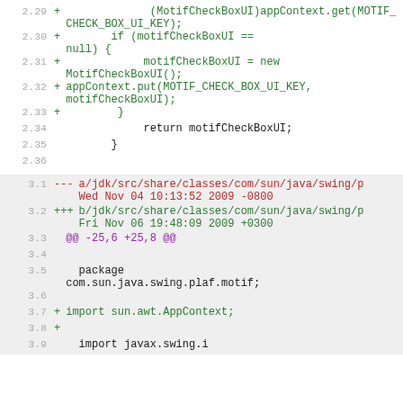Code diff view showing additions and deletions in Java source files. Upper section shows green additions with line numbers 2.29-2.36. Lower section (gray background) shows file header diff lines 3.1-3.8 with red deletions, green additions, and context lines.